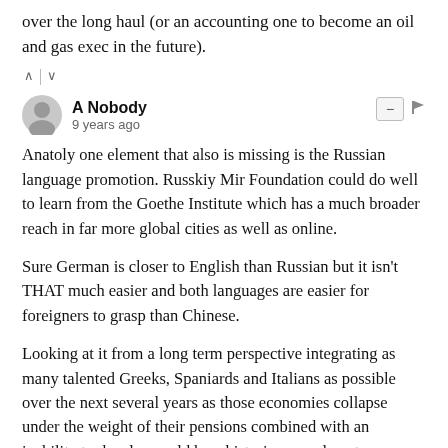over the long haul (or an accounting one to become an oil and gas exec in the future).
^ | v
A Nobody
9 years ago
Anatoly one element that also is missing is the Russian language promotion. Russkiy Mir Foundation could do well to learn from the Goethe Institute which has a much broader reach in far more global cities as well as online.
Sure German is closer to English than Russian but it isn't THAT much easier and both languages are easier for foreigners to grasp than Chinese.
Looking at it from a long term perspective integrating as many talented Greeks, Spaniards and Italians as possible over the next several years as those economies collapse under the weight of their pensions combined with an inability to devalue could be a historic coup almost on par with the talent injections under Peter the Great and Catherine the Great.
^ | v